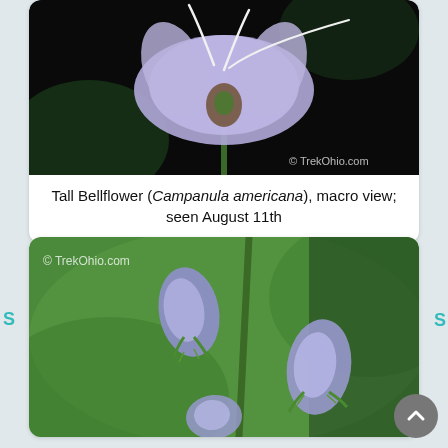[Figure (photo): Macro close-up photo of a Tall Bellflower (Campanula americana) bloom, showing light purple/lavender petals with white stamens and green stem, dark background. Watermark: © TrekOhio.com]
Tall Bellflower (Campanula americana), macro view; seen August 11th
[Figure (photo): Close-up photo of Tall Bellflower (Campanula americana) buds on a green stem, showing multiple lavender/purple flower buds not yet open, with a blurred green background. Watermark: © TrekOhio.com]